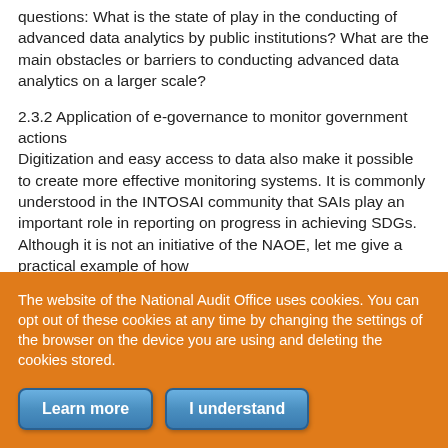questions: What is the state of play in the conducting of advanced data analytics by public institutions? What are the main obstacles or barriers to conducting advanced data analytics on a larger scale?
2.3.2 Application of e-governance to monitor government actions
Digitization and easy access to data also make it possible to create more effective monitoring systems. It is commonly understood in the INTOSAI community that SAIs play an important role in reporting on progress in achieving SDGs.  Although it is not an initiative of the NAOE, let me give a practical example of how
The website of the National Audit Office uses cookies. You can opt out of these cookies at any time by changing the settings of the browser on the device you are using and deleting the cookies stored.